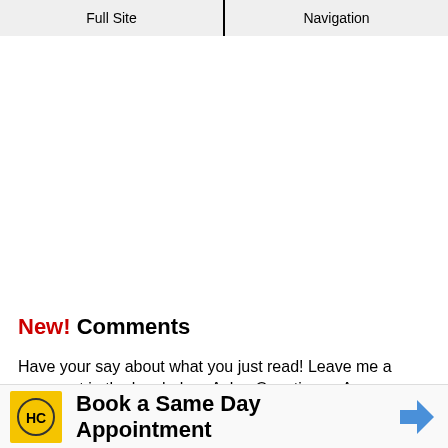Full Site | Navigation
New! Comments
Have your say about what you just read! Leave me a comment in the box below. Ask a Question or Answer a Question.
Book a Same Day Appointment